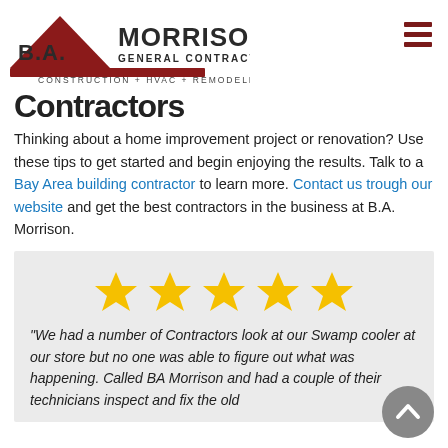[Figure (logo): B.A. Morrison General Contractor logo with red triangle/arrow shape and text 'CONSTRUCTION + HVAC + REMODELING']
Contractors
Thinking about a home improvement project or renovation? Use these tips to get started and begin enjoying the results. Talk to a Bay Area building contractor to learn more. Contact us trough our website and get the best contractors in the business at B.A. Morrison.
[Figure (infographic): Five gold star rating icons in a row]
“We had a number of Contractors look at our Swamp cooler at our store but no one was able to figure out what was happening. Called BA Morrison and had a couple of their technicians inspect and fix the old